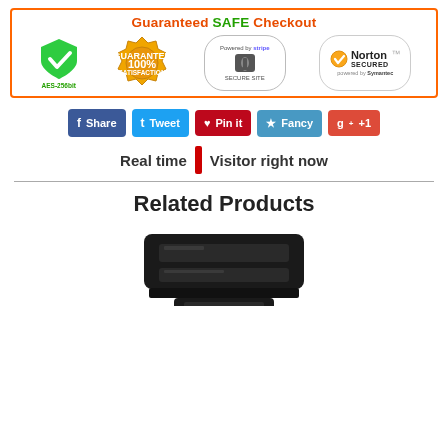[Figure (infographic): Guaranteed SAFE Checkout banner with orange border, showing: green shield with checkmark (AES-256bit), gold 100% satisfaction guarantee badge, Stripe Secure Site lock, and Norton Secured powered by Symantec logos]
[Figure (infographic): Social sharing buttons row: Facebook Share, Twitter Tweet, Pinterest Pin it, Fancy, Google+1]
Real time  |  Visitor right now
Related Products
[Figure (photo): Black product item photo (partial, cropped at bottom)]